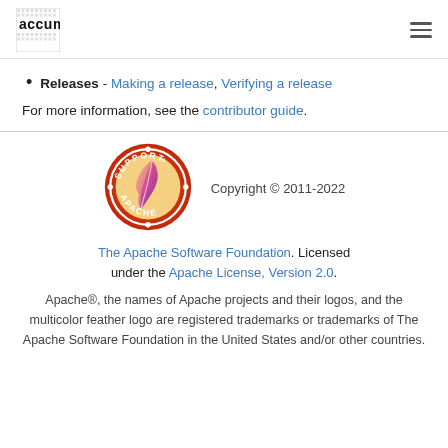accumulo
Releases - Making a release, Verifying a release
For more information, see the contributor guide.
[Figure (logo): Apache Support feather logo — circular red/orange badge with a feather and text SUPPORT APACHE]
Copyright © 2011-2022
The Apache Software Foundation. Licensed under the Apache License, Version 2.0.
Apache®, the names of Apache projects and their logos, and the multicolor feather logo are registered trademarks or trademarks of The Apache Software Foundation in the United States and/or other countries.